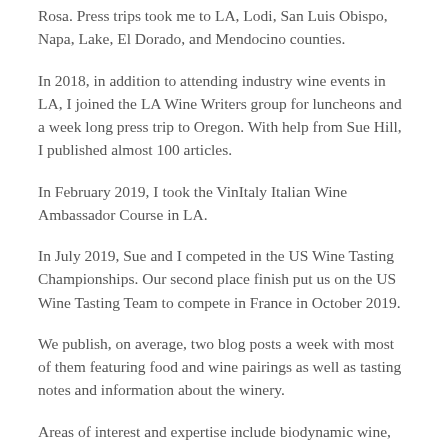Rosa. Press trips took me to LA, Lodi, San Luis Obispo, Napa, Lake, El Dorado, and Mendocino counties.
In 2018, in addition to attending industry wine events in LA, I joined the LA Wine Writers group for luncheons and a week long press trip to Oregon. With help from Sue Hill, I published almost 100 articles.
In February 2019, I took the VinItaly Italian Wine Ambassador Course in LA.
In July 2019, Sue and I competed in the US Wine Tasting Championships. Our second place finish put us on the US Wine Tasting Team to compete in France in October 2019.
We publish, on average, two blog posts a week with most of them featuring food and wine pairings as well as tasting notes and information about the winery.
Areas of interest and expertise include biodynamic wine, food, travel, geography, and culture. I have undergraduate degrees in Literature/Creative Writing and Environmental Studies from UC Santa Cruz, and graduate degrees in Education, English, and Ecopsychology: